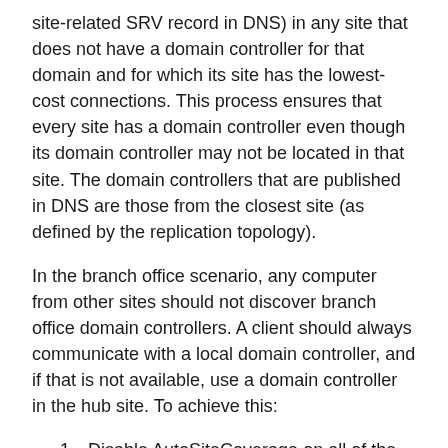site-related SRV record in DNS) in any site that does not have a domain controller for that domain and for which its site has the lowest-cost connections. This process ensures that every site has a domain controller even though its domain controller may not be located in that site. The domain controllers that are published in DNS are those from the closest site (as defined by the replication topology).
In the branch office scenario, any computer from other sites should not discover branch office domain controllers. A client should always communicate with a local domain controller, and if that is not available, use a domain controller in the hub site. To achieve this:
Disable AutoSiteCoverage on all of the domain controllers, not only for the branch domain controllers, but also hub domain controllers.